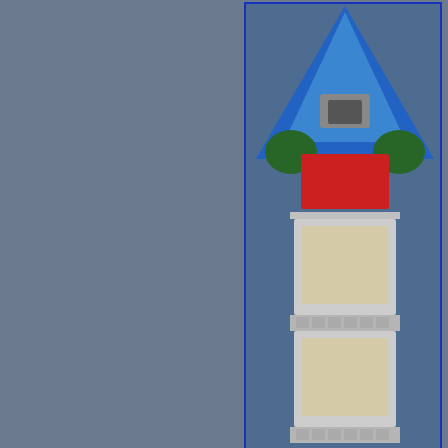[Figure (photo): LEGO lighthouse tower model photographed against blue background, showing grey brick tower structure with blue transparent top element, red and green details, and eBay watermark. Blue border frame.]
[Figure (photo): LEGO city/harbor set components: yellow forklift with minifigure driver, standing minifigure with orange helmet and equipment box, wooden crates, brown boxes with lids open, and eBay watermark. Blue border frame.]